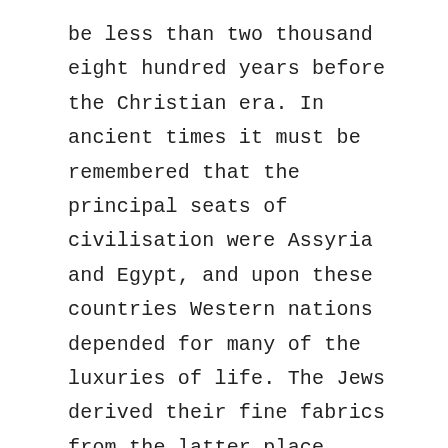be less than two thousand eight hundred years before the Christian era. In ancient times it must be remembered that the principal seats of civilisation were Assyria and Egypt, and upon these countries Western nations depended for many of the luxuries of life. The Jews derived their fine fabrics from the latter place, which was particularly noted for its linen manufactures and for magnificent embroideries, of which the accompanying illustration will give some idea. Medes and Babylonians, of the highest class, partially arrayed themselves in silk, which cost its weight in gold, and about the time of Ezekiel (B.C. 594) it is known to have been used in the dress of the Persians. It is a remarkable circumstance that this animal product was brought to the West manufactured in cloth, which was only half silk; and it is said the plan was